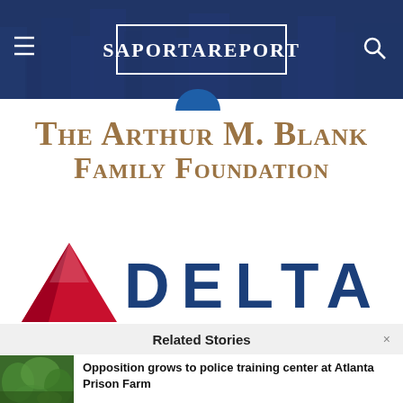[Figure (screenshot): SaportaReport website header with dark blue cityscape background, hamburger menu icon on left, search icon on right, and white bordered logo box with 'SaportaReport' text in center]
[Figure (logo): The Arthur M. Blank Family Foundation logo in gold/brown serif text]
[Figure (logo): Delta Air Lines logo with red triangle widget and blue 'DELTA' text with letter-spacing]
Related Stories
[Figure (photo): Thumbnail photo of green trees/nature scene, Atlanta Prison Farm]
Opposition grows to police training center at Atlanta Prison Farm